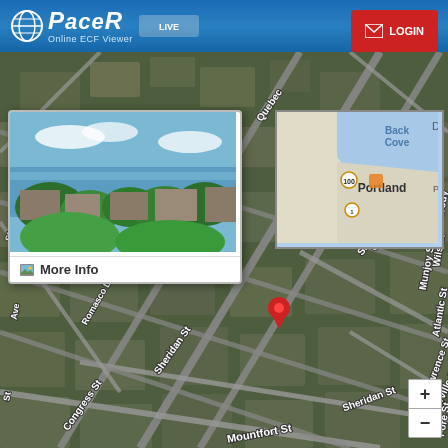PACER Online ECF Viewer
[Figure (screenshot): Aerial/satellite map view of Portland, Maine neighborhood showing streets including Congress St, Sheridan St, Lafayette St, Merrill St, Quebec St, Mountfort St, Romasco Ln, Sheridan St, Munjoy St, Atlantic St, Lawrence St, Waterville St, Fore St, Moody St, Wilson St. A red location pin is placed on Congress St. A popup shows a photo of the neighborhood with a 'More Info' button. A mini overview map shows Back Cove and Portland label. Zoom +/- controls in bottom right.]